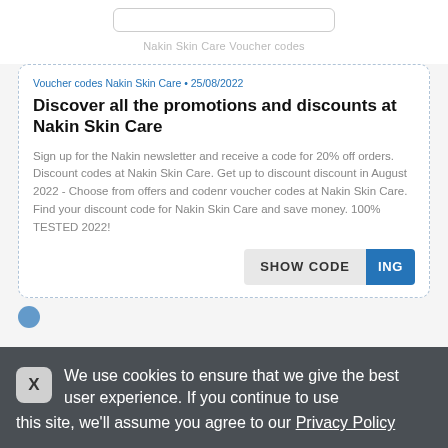Nakin Skin Care Voucher codes
Voucher codes Nakin Skin Care • 25/08/2022
Discover all the promotions and discounts at Nakin Skin Care
Sign up for the Nakin newsletter and receive a code for 20% off orders. Discount codes at Nakin Skin Care. Get up to discount discount in August 2022 - Choose from offers and codenr voucher codes at Nakin Skin Care. Find your discount code for Nakin Skin Care and save money. 100% TESTED 2022!
SHOW CODE ING
We use cookies to ensure that we give the best user experience. If you continue to use this site, we'll assume you agree to our Privacy Policy